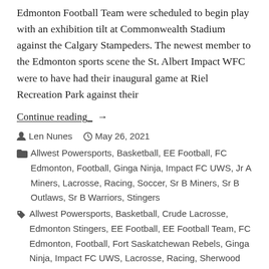Edmonton Football Team were scheduled to begin play with an exhibition tilt at Commonwealth Stadium against the Calgary Stampeders. The newest member to the Edmonton sports scene the St. Albert Impact WFC were to have had their inaugural game at Riel Recreation Park against their
Continue reading →
Len Nunes   May 26, 2021
Allwest Powersports, Basketball, EE Football, FC Edmonton, Football, Ginga Ninja, Impact FC UWS, Jr A Miners, Lacrosse, Racing, Soccer, Sr B Miners, Sr B Outlaws, Sr B Warriors, Stingers
Allwest Powersports, Basketball, Crude Lacrosse, Edmonton Stingers, EE Football, EE Football Team, FC Edmonton, Football, Fort Saskatchewan Rebels, Ginga Ninja, Impact FC UWS, Lacrosse, Racing, Sherwood Park Outlaws,